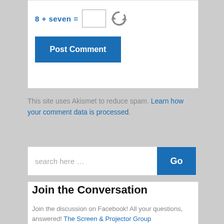8 + seven =
Post Comment
This site uses Akismet to reduce spam. Learn how your comment data is processed.
search here …
Join the Conversation
Join the discussion on Facebook! All your questions, answered! The Screen & Projector Group